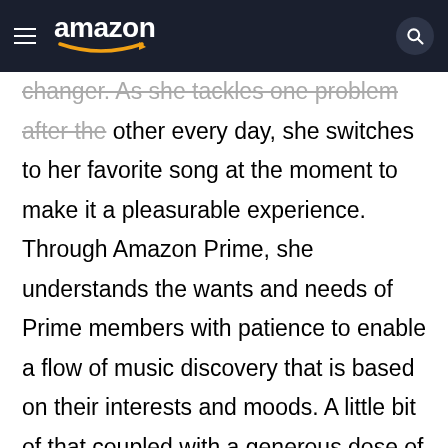amazon (navigation bar with hamburger menu and search icon)
changer. As she tackles one problem after the other every day, she switches to her favorite song at the moment to make it a pleasurable experience. Through Amazon Prime, she understands the wants and needs of Prime members with patience to enable a flow of music discovery that is based on their interests and moods. A little bit of that coupled with a generous dose of humor makes her work life fruitful, as she spreads positivity and happiness through the sound of music.